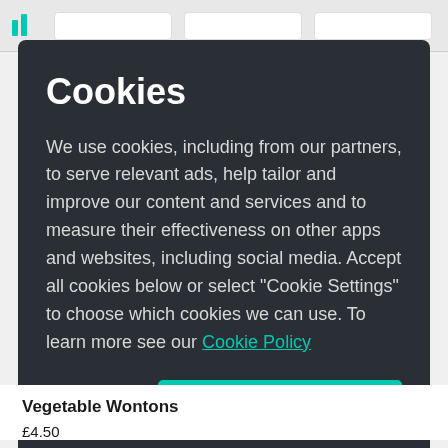[Figure (screenshot): Browser chrome header with logo and navigation bar tabs]
Cookies
We use cookies, including from our partners, to serve relevant ads, help tailor and improve our content and services and to measure their effectiveness on other apps and websites, including social media. Accept all cookies below or select “Cookie Settings” to choose which cookies we can use. To learn more see our Cookie Policy
Cookie Settings
Accept All Cookies
Vegetable Wontons
£4.50